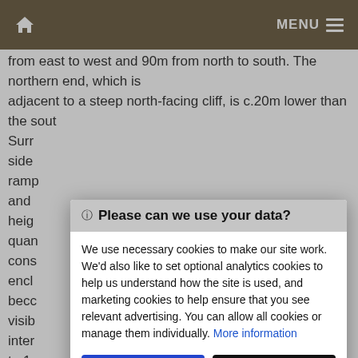MENU
from east to west and 90m from north to south. The northern end, which is adjacent to a steep north-facing cliff, is c.20m lower than the sout Surr side ramp and heig quan cons encl becc visib inter to 1 The northern boundary of the enclosure is provided by the steep cliff face
🛈 Please can we use your data? We use necessary cookies to make our site work. We'd also like to set optional analytics cookies to help us understand how the site is used, and marketing cookies to help ensure that you see relevant advertising. You can allow all cookies or manage them individually. More information
Accept Cookies
Customise Cookies